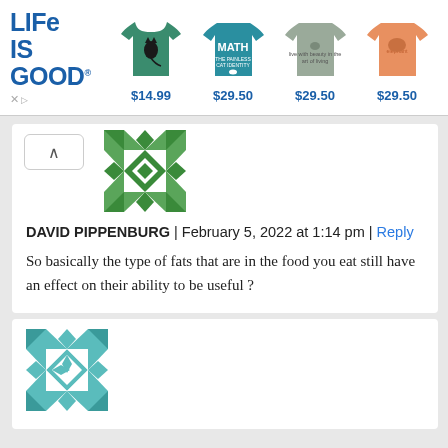[Figure (other): Life is Good advertisement banner showing logo and four t-shirts with prices $14.99, $29.50, $29.50, $29.50]
DAVID PIPPENBURG | February 5, 2022 at 1:14 pm | Reply
So basically the type of fats that are in the food you eat still have an effect on their ability to be useful ?
[Figure (other): Teal/white geometric quilt pattern avatar icon]